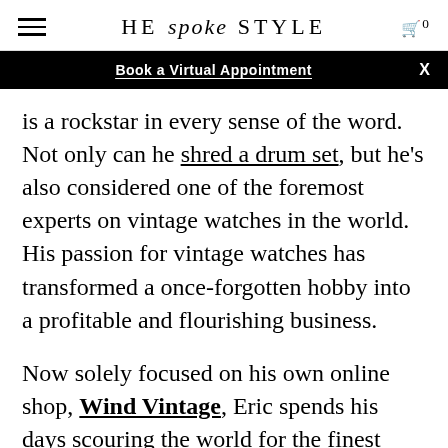HE spoke STYLE  🛒 0
Book a Virtual Appointment  X
is a rockstar in every sense of the word. Not only can he shred a drum set, but he's also considered one of the foremost experts on vintage watches in the world. His passion for vintage watches has transformed a once-forgotten hobby into a profitable and flourishing business.

Now solely focused on his own online shop, Wind Vintage, Eric spends his days scouring the world for the finest examples of dead stock watches. His customers know that Eric's acute eye for the smallest details and search for a watch with character, ensures them a piece that's both